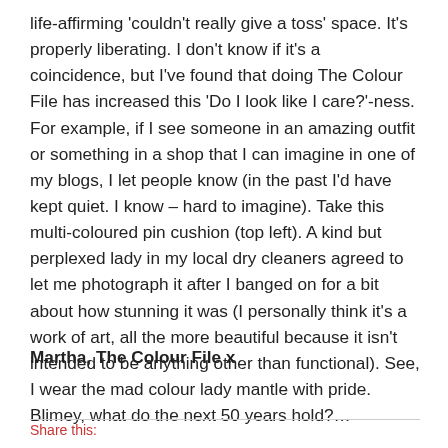life-affirming 'couldn't really give a toss' space. It's properly liberating. I don't know if it's a coincidence, but I've found that doing The Colour File has increased this 'Do I look like I care?'-ness. For example, if I see someone in an amazing outfit or something in a shop that I can imagine in one of my blogs, I let people know (in the past I'd have kept quiet. I know – hard to imagine). Take this multi-coloured pin cushion (top left). A kind but perplexed lady in my local dry cleaners agreed to let me photograph it after I banged on for a bit about how stunning it was (I personally think it's a work of art, all the more beautiful because it isn't intended to be anything other than functional). See, I wear the mad colour lady mantle with pride. Blimey, what do the next 50 years hold?…
Martha, The Colour File x
Share this: